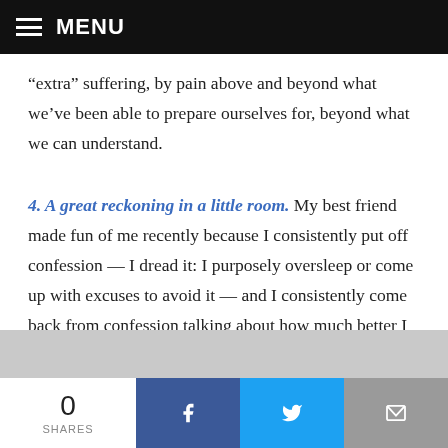MENU
“extra” suffering, by pain above and beyond what we’ve been able to prepare ourselves for, beyond what we can understand.
4. A great reckoning in a little room.
My best friend made fun of me recently because I consistently put off confession — I dread it: I purposely oversleep or come up with excuses to avoid it — and I consistently come back from confession talking about how much better I feel. And I know that this almost always happens, yet I persist in acting the fool.
0 SHARES